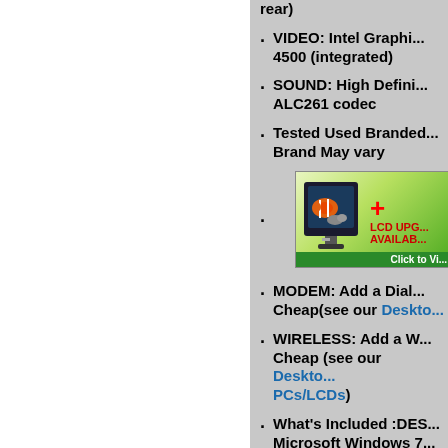rear)
VIDEO: Intel Graphics 4500 (integrated)
SOUND: High Definition ALC261 codec
Tested Used Branded Brand May vary
[Figure (photo): LCD monitor upgrade advertisement banner with a monitor showing a clownfish screensaver, a red plus sign, and text 'LCD UPGRADE AVAILABLE Click to View']
MODEM: Add a Dial... Cheap(see our Desktop...)
WIRELESS: Add a W... Cheap (see our Desktop... PCs/LCDs)
What's Included :DES... Microsoft Windows 7 ... installed / Recovery...